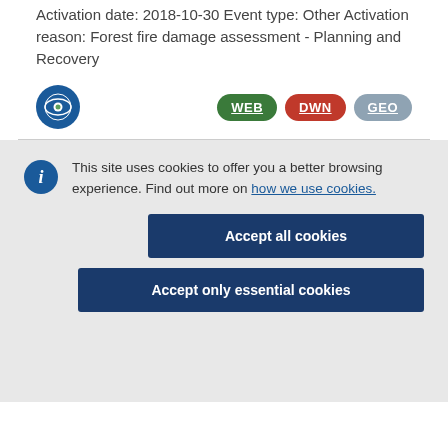Activation date: 2018-10-30 Event type: Other Activation reason: Forest fire damage assessment - Planning and Recovery
[Figure (logo): Blue circular icon with eye/globe symbol]
WEB DWN GEO (badge buttons)
This site uses cookies to offer you a better browsing experience. Find out more on how we use cookies.
Accept all cookies
Accept only essential cookies